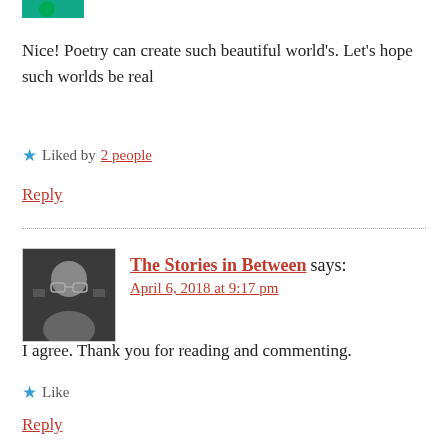[Figure (photo): Partial avatar image clipped at top of page]
Nice! Poetry can create such beautiful world's. Let's hope such worlds be real
★ Liked by 2 people
Reply
[Figure (photo): Black and white profile photo of bearded man with glasses]
The Stories in Between says:
April 6, 2018 at 9:17 pm
I agree. Thank you for reading and commenting.
★ Like
Reply